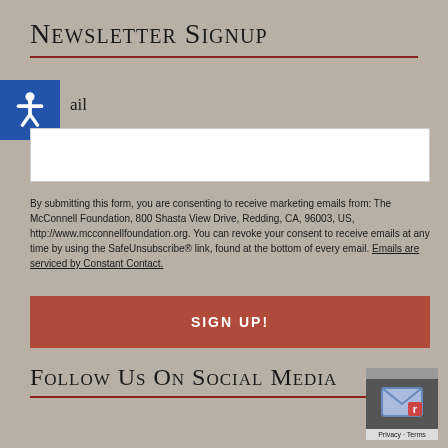Newsletter Signup
Email
By submitting this form, you are consenting to receive marketing emails from: The McConnell Foundation, 800 Shasta View Drive, Redding, CA, 96003, US, http://www.mcconnellfoundation.org. You can revoke your consent to receive emails at any time by using the SafeUnsubscribe® link, found at the bottom of every email. Emails are serviced by Constant Contact.
SIGN UP!
Follow Us On Social Media
[Figure (logo): Privacy badge with envelope icon and Privacy/Terms text]